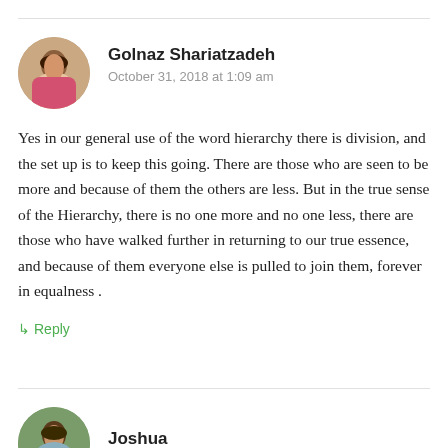[Figure (photo): Circular avatar photo of a woman with dark hair, wearing a pink top]
Golnaz Shariatzadeh
October 31, 2018 at 1:09 am
Yes in our general use of the word hierarchy there is division, and the set up is to keep this going. There are those who are seen to be more and because of them the others are less. But in the true sense of the Hierarchy, there is no one more and no one less, there are those who have walked further in returning to our true essence, and because of them everyone else is pulled to join them, forever in equalness .
↳ Reply
[Figure (photo): Circular avatar photo of a man outdoors]
Joshua